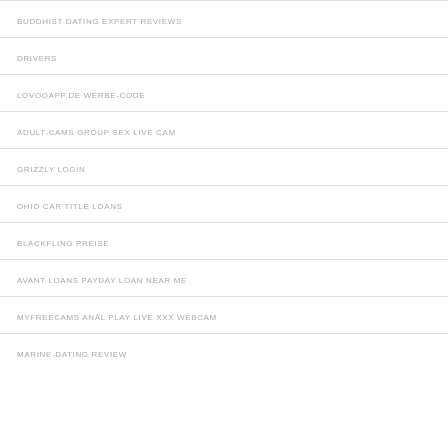BUDDHIST DATING EXPERT REVIEWS
DRIVERS
LOVOOAPP.DE WERBE-CODE
ADULT-CAMS GROUP SEX LIVE CAM
GRIZZLY LOGIN
OHIO CAR TITLE LOANS
BLACKFLING PREISE
AVANT LOANS PAYDAY LOAN NEAR ME
MYFREECAMS ANAL PLAY LIVE XXX WEBCAM
MARINE-DATING REVIEW